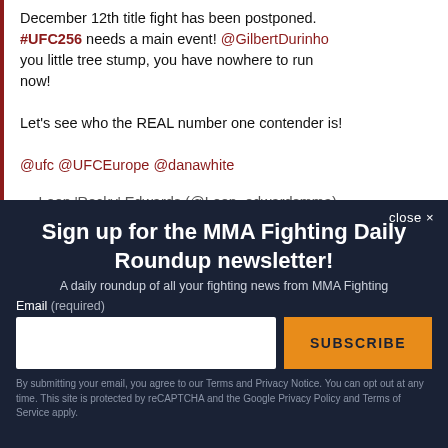December 12th title fight has been postponed. #UFC256 needs a main event! @GilbertDurinho you little tree stump, you have nowhere to run now!
Let's see who the REAL number one contender is!
@ufc @UFCEurope @danawhite
— Leon 'Rocky' Edwards (@Leon_edwardsmma)
close ✕
Sign up for the MMA Fighting Daily Roundup newsletter!
A daily roundup of all your fighting news from MMA Fighting
Email (required)
SUBSCRIBE
By submitting your email, you agree to our Terms and Privacy Notice. You can opt out at any time. This site is protected by reCAPTCHA and the Google Privacy Policy and Terms of Service apply.